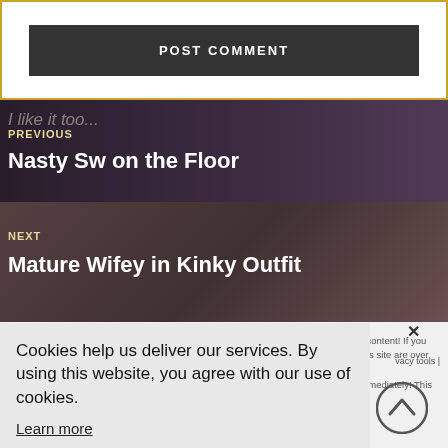POST COMMENT
[Figure (photo): Navigation link to previous post with dark overlay on photo background, labeled PREVIOUS with title Nasty Sw on the Floor]
PREVIOUS
Nasty Sw on the Floor
[Figure (photo): Navigation link to next post with dark overlay on photo background, labeled NEXT with title Mature Wifey in Kinky Outfit]
NEXT
Mature Wifey in Kinky Outfit
We DO NOT TOLERATE ch!ld pornography or anything illegal. This site has adult content! If you are under 18 years of age please LEAVE this site immediately! All performers on this site are over 18 years old. We are not
Cookies help us deliver our services. By using this website, you agree with our use of cookies.

Learn more